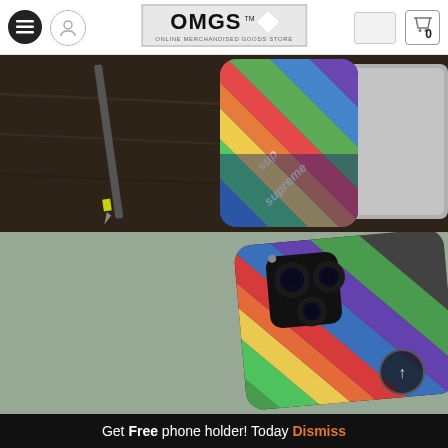[Figure (screenshot): OMGS website header with hamburger menu, user icon, OMGS logo (Online Merchandised Goods Store), search box, and cart icon showing 0 items]
[Figure (photo): Top-down photo of a colorful rainbow-striped Supreme-branded phone case lying face-down on a dark wooden desk next to a pencil and a laptop]
[Figure (photo): Angled photo showing the back of the same colorful Supreme-branded phone case on a phone, showing camera cutouts]
Get Free phone holder! Today Dismiss